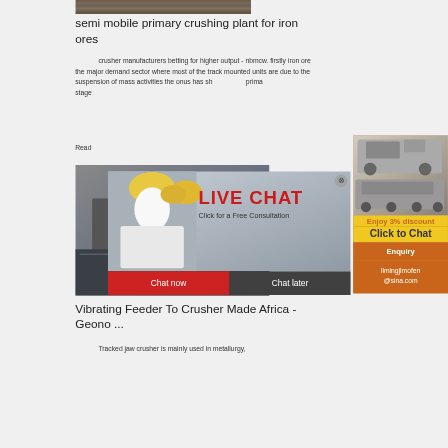[Figure (photo): Top portion of a crushed stone/mining scene, dark rocky ground]
semi mobile primary crushing plant for iron ores
crusher manufacturers betting for higher output - nbmcw. firstly iron ore the major demand sector where most of the track mounted units are due to the suspension of mass activities the onus has shifted to primary stage
Read
[Figure (photo): Industrial machinery / processing plant equipment]
[Figure (photo): Live Chat popup with person in yellow hard hat, Chat now and Chat later buttons]
[Figure (photo): Right sidebar with orange background showing crushing machinery images, Enjoy 3% discount / Click to Chat, Enquiry, limingjlmofen@sina.com]
Vibrating Feeder To Crusher Made Africa - Geono ...
Tracked jaw crusher is mainly used in metallurgy,